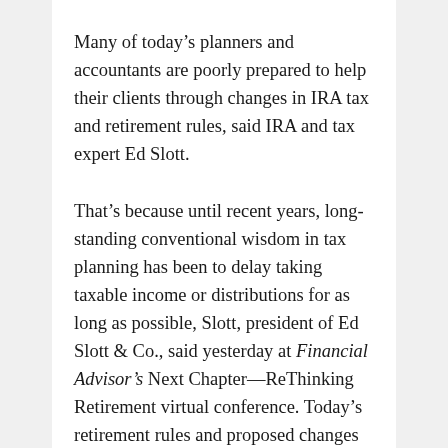Many of today's planners and accountants are poorly prepared to help their clients through changes in IRA tax and retirement rules, said IRA and tax expert Ed Slott.
That's because until recent years, long-standing conventional wisdom in tax planning has been to delay taking taxable income or distributions for as long as possible, Slott, president of Ed Slott & Co., said yesterday at Financial Advisor's Next Chapter—ReThinking Retirement virtual conference. Today's retirement rules and proposed changes in tax laws create greater incentive to take income and pay taxes sooner